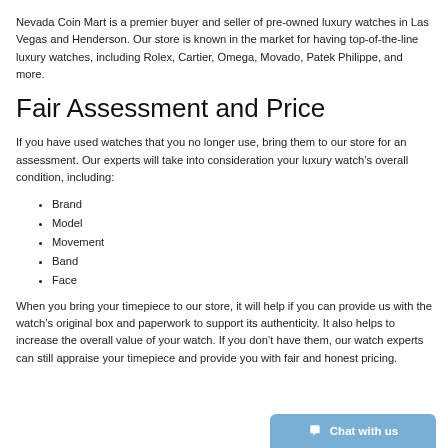Nevada Coin Mart is a premier buyer and seller of pre-owned luxury watches in Las Vegas and Henderson. Our store is known in the market for having top-of-the-line luxury watches, including Rolex, Cartier, Omega, Movado, Patek Philippe, and more.
Fair Assessment and Price
If you have used watches that you no longer use, bring them to our store for an assessment. Our experts will take into consideration your luxury watch's overall condition, including:
Brand
Model
Movement
Band
Face
When you bring your timepiece to our store, it will help if you can provide us with the watch's original box and paperwork to support its authenticity. It also helps to increase the overall value of your watch. If you don't have them, our watch experts can still appraise your timepiece and provide you with fair and honest pricing.